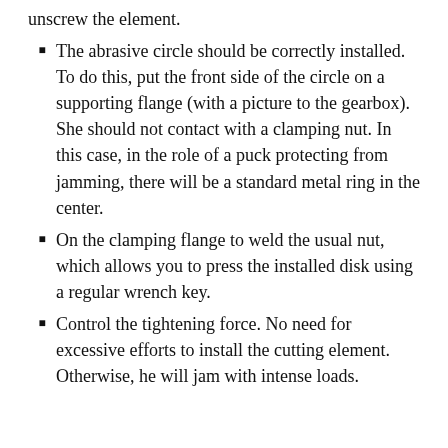unscrew the element.
The abrasive circle should be correctly installed. To do this, put the front side of the circle on a supporting flange (with a picture to the gearbox). She should not contact with a clamping nut. In this case, in the role of a puck protecting from jamming, there will be a standard metal ring in the center.
On the clamping flange to weld the usual nut, which allows you to press the installed disk using a regular wrench key.
Control the tightening force. No need for excessive efforts to install the cutting element. Otherwise, he will jam with intense loads.